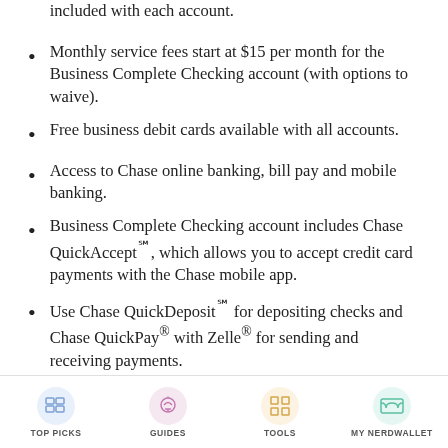included with each account.
Monthly service fees start at $15 per month for the Business Complete Checking account (with options to waive).
Free business debit cards available with all accounts.
Access to Chase online banking, bill pay and mobile banking.
Business Complete Checking account includes Chase QuickAccept℠, which allows you to accept credit card payments with the Chase mobile app.
Use Chase QuickDeposit℠ for depositing checks and Chase QuickPay® with Zelle® for sending and receiving payments.
24/7 phone-based customer service
TOP PICKS  GUIDES  TOOLS  MY NERDWALLET